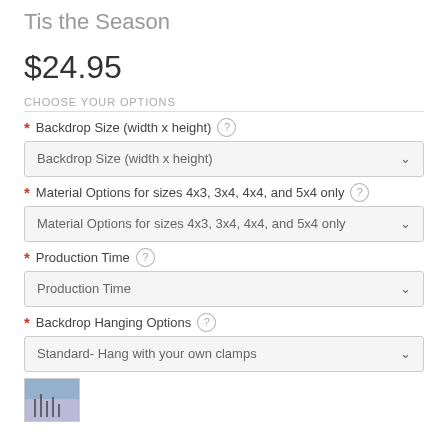Tis the Season
$24.95
CHOOSE YOUR OPTIONS
* Backdrop Size (width x height) ?
Backdrop Size (width x height)
* Material Options for sizes 4x3, 3x4, 4x4, and 5x4 only ?
Material Options for sizes 4x3, 3x4, 4x4, and 5x4 only
* Production Time ?
Production Time
* Backdrop Hanging Options ?
Standard- Hang with your own clamps
[Figure (photo): Thumbnail image of a backdrop product]